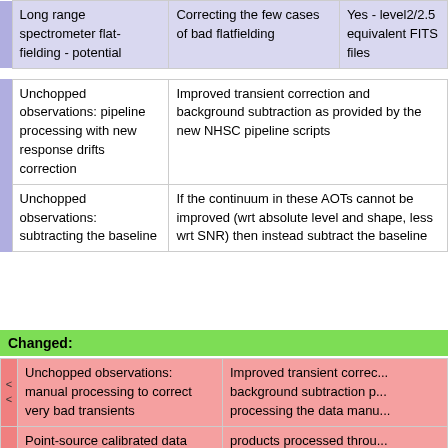|  | Issue | Description | Status |
| --- | --- | --- | --- |
|  | Long range spectrometer flat-fielding - potential | Correcting the few cases of bad flatfielding | Yes - level2/2.5 equivalent FITS files |
|  | Unchopped observations: pipeline processing with new response drifts correction | Improved transient correction and background subtraction as provided by the new NHSC pipeline scripts |  |
|  | Unchopped observations: subtracting the baseline | If the continuum in these AOTs cannot be improved (wrt absolute level and shape, less wrt SNR) then instead subtract the baseline |  |
Changed:
|  | Issue | Description |
| --- | --- | --- |
| << | Unchopped observations: manual processing to correct very bad transients | Improved transient correction background subtraction p... processing the data manu... |
|  | Point-source calibrated data | products processed throu... |